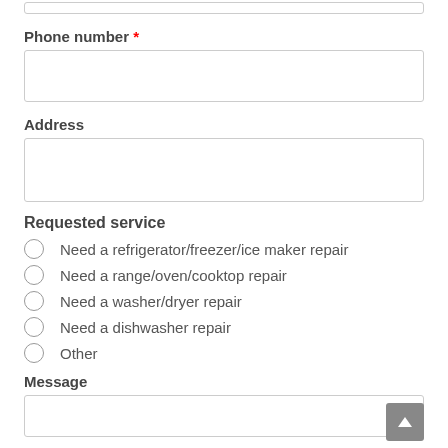Phone number *
Address
Requested service
Need a refrigerator/freezer/ice maker repair
Need a range/oven/cooktop repair
Need a washer/dryer repair
Need a dishwasher repair
Other
Message